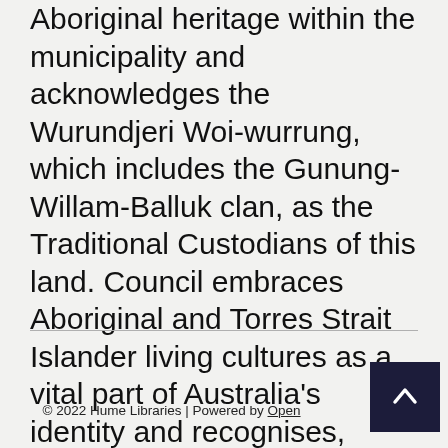Aboriginal heritage within the municipality and acknowledges the Wurundjeri Woi-wurrung, which includes the Gunung-Willam-Balluk clan, as the Traditional Custodians of this land. Council embraces Aboriginal and Torres Strait Islander living cultures as a vital part of Australia's identity and recognises, celebrates and pays respect to the existing family members of the Wurundjeri Woi-wurrung and to Elders past, present and future.
© 2022 Hume Libraries | Powered by Open